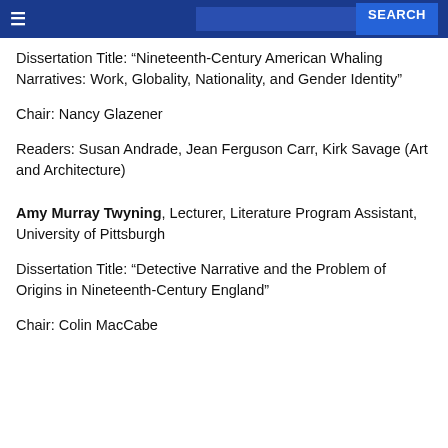≡  SEARCH
Dissertation Title: “Nineteenth-Century American Whaling Narratives: Work, Globality, Nationality, and Gender Identity”
Chair: Nancy Glazener
Readers: Susan Andrade, Jean Ferguson Carr, Kirk Savage (Art and Architecture)
Amy Murray Twyning, Lecturer, Literature Program Assistant, University of Pittsburgh
Dissertation Title: “Detective Narrative and the Problem of Origins in Nineteenth-Century England”
Chair: Colin MacCabe